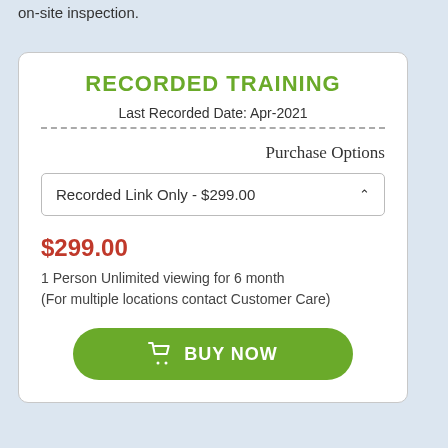on-site inspection.
RECORDED TRAINING
Last Recorded Date: Apr-2021
Purchase Options
Recorded Link Only - $299.00
$299.00
1 Person Unlimited viewing for 6 month (For multiple locations contact Customer Care)
BUY NOW